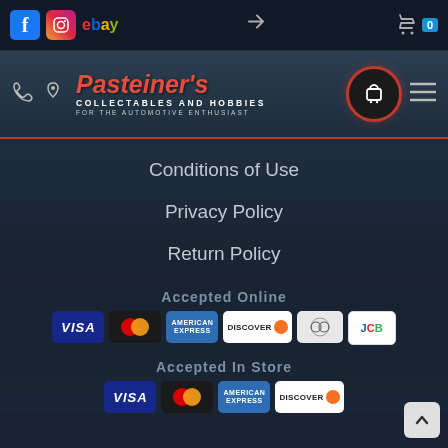Pasteiner's Collectables and Hobbies - For the Automotive Enthusiast
Conditions of Use
Privacy Policy
Return Policy
Accepted Online
[Figure (other): Payment method logos for online: VISA, Mastercard, American Express, Discover, Diners Club, JCB]
Accepted In Store
[Figure (other): Payment method logos for in-store: VISA, Mastercard, American Express, Discover]